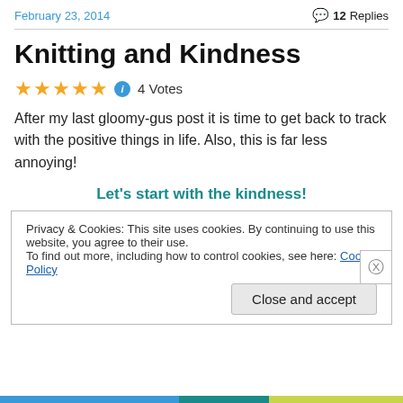February 23, 2014   💬 12 Replies
Knitting and Kindness
★★★★★ ℹ 4 Votes
After my last gloomy-gus post it is time to get back to track with the positive things in life. Also, this is far less annoying!
Let's start with the kindness!
Privacy & Cookies: This site uses cookies. By continuing to use this website, you agree to their use.
To find out more, including how to control cookies, see here: Cookie Policy
Close and accept